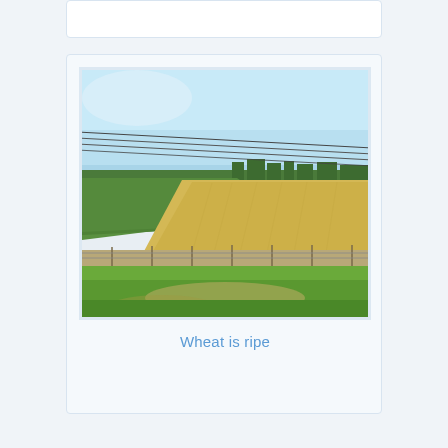[Figure (photo): Photograph of agricultural fields viewed from a moving vehicle through a window. The scene shows a clear blue sky, power lines crossing diagonally, a strip of green crops on the left, a large golden-yellow wheat field in the center-right, a fence line, and green grass in the foreground.]
Wheat is ripe